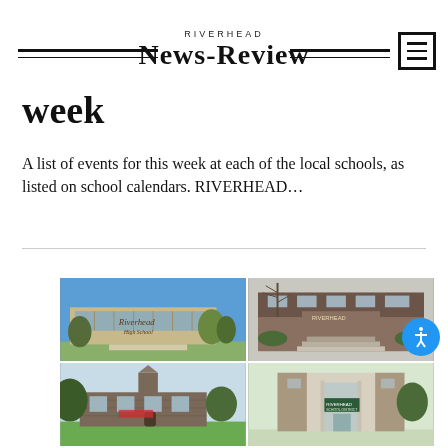RIVERHEAD NEWS-REVIEW
week
A list of events for this week at each of the local schools, as listed on school calendars. RIVERHEAD...
[Figure (photo): A 2x2 grid of four school building photographs showing local schools in Riverhead]